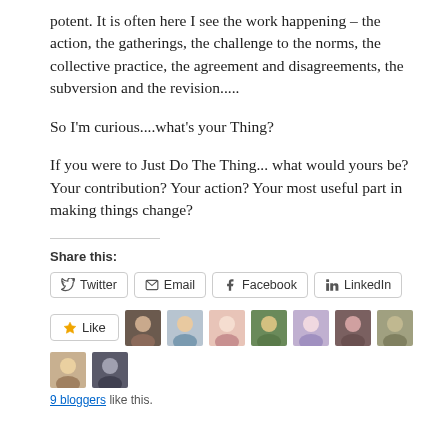potent. It is often here I see the work happening – the action, the gatherings, the challenge to the norms, the collective practice, the agreement and disagreements, the subversion and the revision.....
So I'm curious....what's your Thing?
If you were to Just Do The Thing... what would yours be? Your contribution? Your action? Your most useful part in making things change?
Share this:
[Figure (other): Social share buttons: Twitter, Email, Facebook, LinkedIn]
[Figure (other): Like button with star icon and 9 blogger avatars. Text: 9 bloggers like this.]